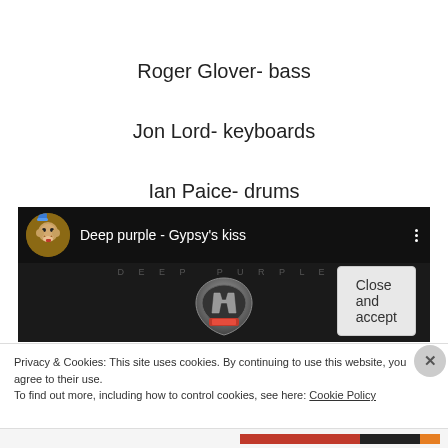Roger Glover- bass
Jon Lord- keyboards
Ian Paice- drums
[Figure (screenshot): YouTube-style video embed showing 'Deep purple - Gypsy's kiss' with a cartoon bear avatar, Deep Purple logo on dark background]
Privacy & Cookies: This site uses cookies. By continuing to use this website, you agree to their use.
To find out more, including how to control cookies, see here: Cookie Policy
Close and accept